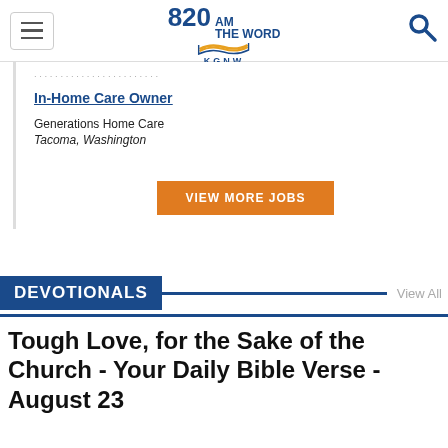820AM THE WORD KGNW
In-Home Care Owner
Generations Home Care
Tacoma, Washington
VIEW MORE JOBS
DEVOTIONALS
View All
Tough Love, for the Sake of the Church - Your Daily Bible Verse - August 23